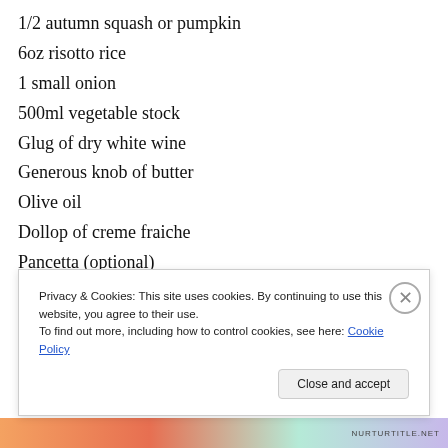1/2 autumn squash or pumpkin
6oz risotto rice
1 small onion
500ml vegetable stock
Glug of dry white wine
Generous knob of butter
Olive oil
Dollop of creme fraiche
Pancetta (optional)
Heat your oven to around 200C. Cut the squash into...
Privacy & Cookies: This site uses cookies. By continuing to use this website, you agree to their use.
To find out more, including how to control cookies, see here: Cookie Policy